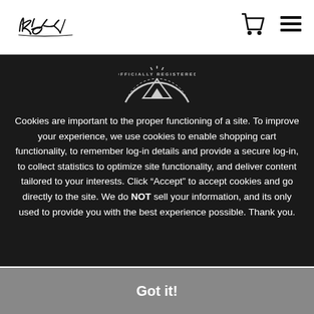Kaot logo with cart and menu icons
[Figure (logo): Kaot brand signature/handwritten logo on white header bar]
[Figure (illustration): Officially Registered semicircular badge/stamp icon with tent/mountain graphic]
Cookies are important to the proper functioning of a site. To improve your experience, we use cookies to enable shopping cart functionality, to remember log-in details and provide a secure log-in, to collect statistics to optimize site functionality, and deliver content tailored to your interests. Click "Accept" to accept cookies and go directly to the site. We do NOT sell your information, and its only used to provide you with the best experience possible. Thank you.
Got it!